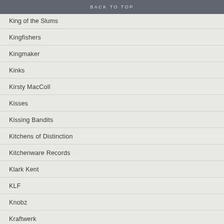BACK TO TOP
King of the Slums
Kingfishers
Kingmaker
Kinks
Kirsty MacColl
Kisses
Kissing Bandits
Kitchens of Distinction
Kitchenware Records
Klark Kent
KLF
Knobz
Kraftwerk